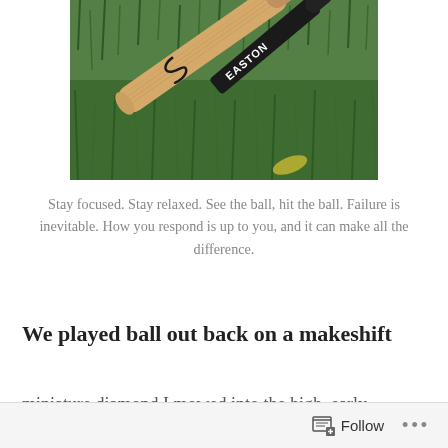[Figure (photo): Two baseball bats lying on grass — one wooden bat with a brand logo, one black bat with white lettering (Easton brand) visible at the top right.]
Stay focused. Stay relaxed. See the ball, hit the ball. Failure is inevitable. How you respond is up to you, and it can make all the difference.
We played ball out back on a makeshift miniature diamond I mowed into the high, early